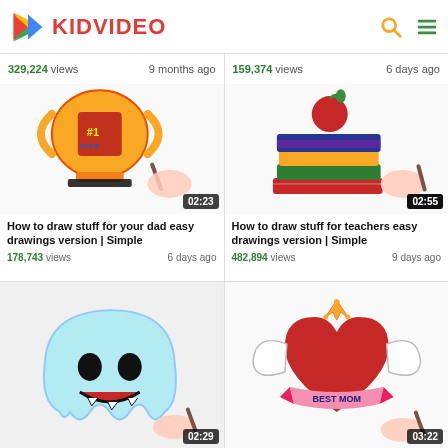KIDVIDEO
329,224 views   9 months ago   |   159,374 views   6 days ago
[Figure (illustration): Drawing of a gold trophy cup with #1 and DAD text, with a hand holding a pencil. Duration: 02:23]
How to draw stuff for your dad easy drawings version | Simple
178,743 views   6 days ago
[Figure (illustration): Drawing of stacked colorful books with a red apple on top, with a hand holding a pencil. Duration: 02:55]
How to draw stuff for teachers easy drawings version | Simple
482,894 views   9 days ago
[Figure (illustration): Drawing of a scary ghost, with a hand holding a pencil. Duration: 02:29]
[Figure (illustration): Drawing of a heart with wings, crown, and 'BEST MOM' banner, with a hand holding a pencil. Duration: 03:22]